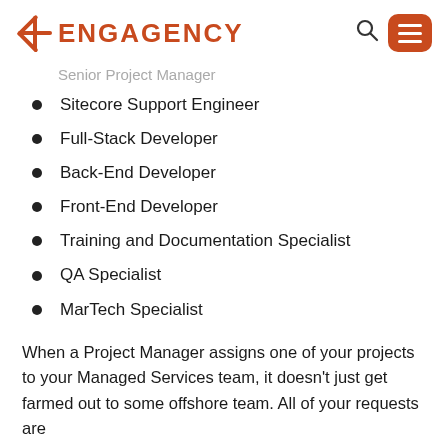ENGAGENCY
Senior Project Manager
Sitecore Support Engineer
Full-Stack Developer
Back-End Developer
Front-End Developer
Training and Documentation Specialist
QA Specialist
MarTech Specialist
When a Project Manager assigns one of your projects to your Managed Services team, it doesn't just get farmed out to some offshore team. All of your requests are